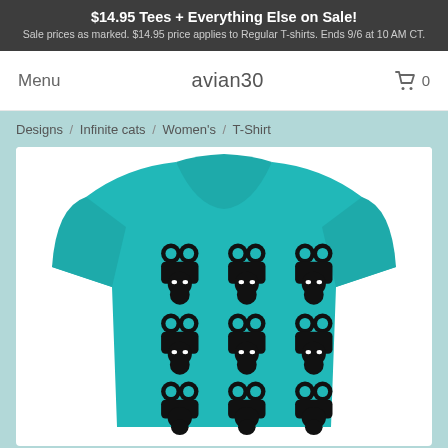$14.95 Tees + Everything Else on Sale! Sale prices as marked. $14.95 price applies to Regular T-shirts. Ends 9/6 at 10 AM CT.
Menu
avian30
0
Designs / Infinite cats / Women's / T-Shirt
[Figure (photo): A teal/turquoise women's t-shirt with a repeating black and white abstract cat pattern printed on the front chest area, displayed on a white background.]